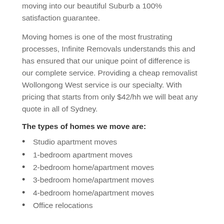moving into our beautiful Suburb a 100% satisfaction guarantee.
Moving homes is one of the most frustrating processes, Infinite Removals understands this and has ensured that our unique point of difference is our complete service. Providing a cheap removalist Wollongong West service is our specialty. With pricing that starts from only $42/hh we will beat any quote in all of Sydney.
The types of homes we move are:
Studio apartment moves
1-bedroom apartment moves
2-bedroom home/apartment moves
3-bedroom home/apartment moves
4-bedroom home/apartment moves
Office relocations